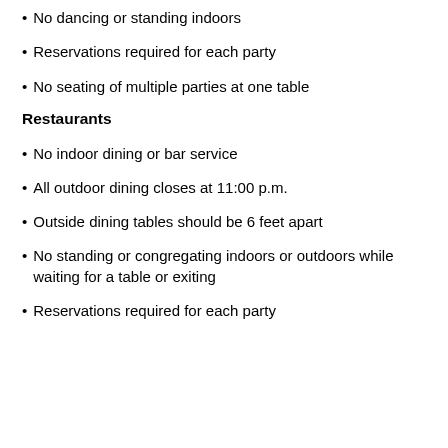No dancing or standing indoors
Reservations required for each party
No seating of multiple parties at one table
Restaurants
No indoor dining or bar service
All outdoor dining closes at 11:00 p.m.
Outside dining tables should be 6 feet apart
No standing or congregating indoors or outdoors while waiting for a table or exiting
Reservations required for each party